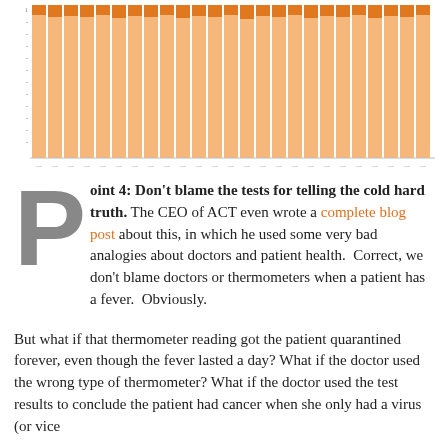[Figure (stacked-bar-chart): A stacked bar chart with approximately 25 bars, each bar consisting of an orange top portion and a light orange/peach bottom portion, with y-axis tick labels on the left side and x-axis labels at the bottom.]
Point 4: Don't blame the tests for telling the cold hard truth. The CEO of ACT even wrote a complete blog post about this, in which he used some very bad analogies about doctors and patient health. Correct, we don't blame doctors or thermometers when a patient has a fever. Obviously.
But what if that thermometer reading got the patient quarantined forever, even though the fever lasted a day? What if the doctor used the wrong type of thermometer? What if the doctor used the test results to conclude the patient had cancer when she only had a virus (or vice